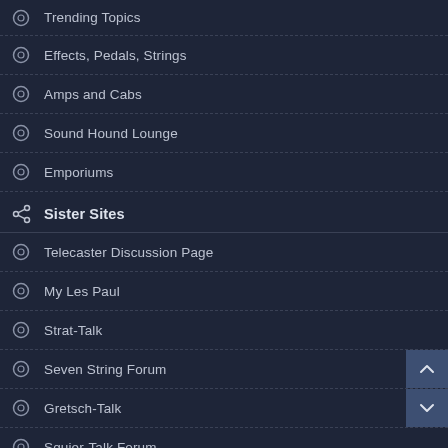Trending Topics
Effects, Pedals, Strings
Amps and Cabs
Sound Hound Lounge
Emporiums
Sister Sites
Telecaster Discussion Page
My Les Paul
Strat-Talk
Seven String Forum
Gretsch-Talk
Squier-Talk Forum